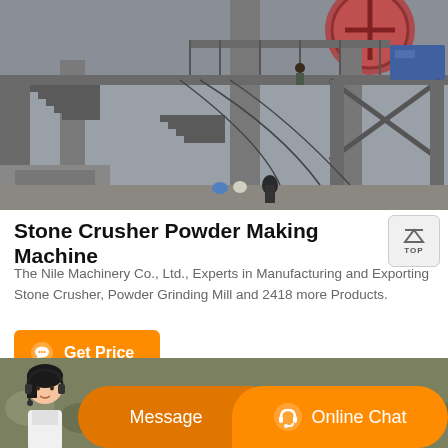[Figure (photo): Industrial stone crusher / powder making machine facility showing large concrete structures, metal staircases, steel framework, and workers on site. Outdoor industrial environment.]
Stone Crusher Powder Making Machine
The Nile Machinery Co., Ltd., Experts in Manufacturing and Exporting Stone Crusher, Powder Grinding Mill and 2418 more Products.
[Figure (infographic): Orange 'Get Price' button with chat bubble icon]
[Figure (infographic): Bottom navigation bar with avatar photo, orange Message button and Online Chat button with headset icon]